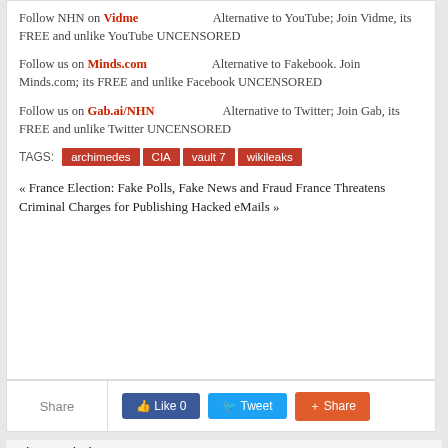Follow NHN on Vidme   Alternative to YouTube; Join Vidme, its FREE and unlike YouTube UNCENSORED
Follow us on Minds.com   Alternative to Fakebook. Join Minds.com; its FREE and unlike Facebook UNCENSORED
Follow us on Gab.ai/NHN   Alternative to Twitter; Join Gab, its FREE and unlike Twitter UNCENSORED
TAGS: archimedes CIA vault 7 wikileaks
« France Election: Fake Polls, Fake News and Fraud France Threatens Criminal Charges for Publishing Hacked eMails »
Share  Like 0  Tweet  Share
About admin
Any article submitted to NHN from a